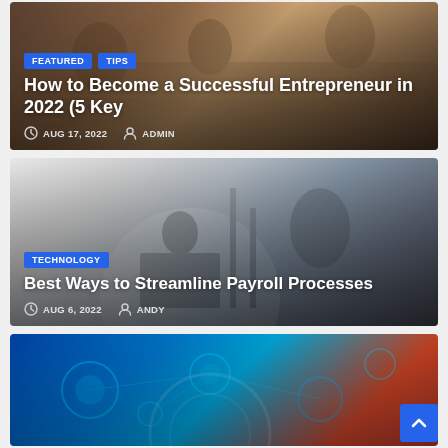[Figure (photo): Office scene with people meeting around a table, warm tones]
FEATURED   TIPS
How to Become a Successful Entrepreneur in 2022 (5 Key
AUG 17, 2022   ADMIN
[Figure (photo): Person working from home at laptop, bright window, home office]
TECHNOLOGY
Best Ways to Streamline Payroll Processes
AUG 6, 2022   ANDY
[Figure (photo): Technology network abstract background, blue and red tones]